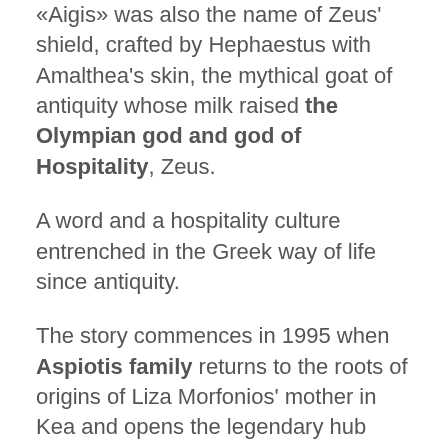«Aigis» was also the name of Zeus' shield, crafted by Hephaestus with Amalthea's skin, the mythical goat of antiquity whose milk raised the Olympian god and god of Hospitality, Zeus.
A word and a hospitality culture entrenched in the Greek way of life since antiquity.
The story commences in 1995 when Aspiotis family returns to the roots of origins of Liza Morfonios' mother in Kea and opens the legendary hub «Astra» (Stars) at the beach of Gialiskari; a family business that initially started for 40 days of work and pleasure on